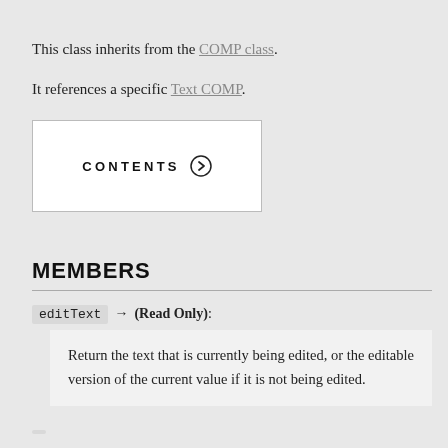This class inherits from the COMP class. It references a specific Text COMP.
[Figure (other): CONTENTS button with right-arrow circle icon inside a white bordered box]
MEMBERS
editText → (Read Only):
Return the text that is currently being edited, or the editable version of the current value if it is not being edited.